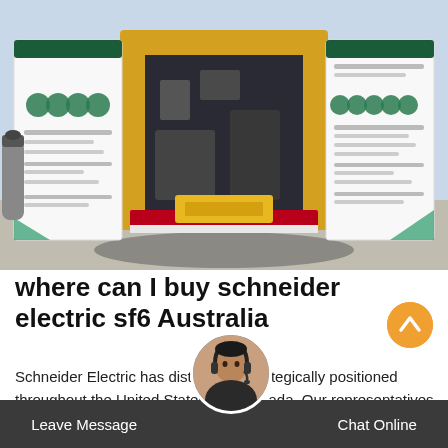[Figure (photo): A yellow truck/vehicle with open rear doors and two large white display boards on either side showing Schneider Electric branding with green hexagon logo patterns. The truck is parked at what appears to be an industrial or utility site.]
where can I buy schneider electric sf6 Australia
Schneider Electric has distributors strategically positioned throughout the United States and Canada. Our representatives are prepared to provide you with a package of services for individual repairs or total plant support. Please enter a zip code
Leave Message   Chat Online